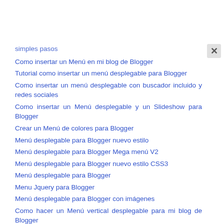simples pasos
Como insertar un Menú en mi blog de Blogger
Tutorial como insertar un menú desplegable para Blogger
Como insertar un menú desplegable con buscador incluido y redes sociales
Como insertar un Menú desplegable y un Slideshow para Blogger
Crear un Menú de colores para Blogger
Menú desplegable para Blogger nuevo estilo
Menú desplegable para Blogger Mega menú V2
Menú desplegable para Blogger nuevo estilo CSS3
Menú desplegable para Blogger
Menu Jquery para Blogger
Menú desplegable para Blogger con imágenes
Como hacer un Menú vertical desplegable para mi blog de Blogger